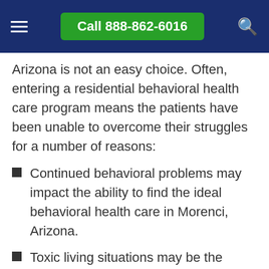Call 888-862-6016
Arizona is not an easy choice. Often, entering a residential behavioral health care program means the patients have been unable to overcome their struggles for a number of reasons:
Continued behavioral problems may impact the ability to find the ideal behavioral health care in Morenci, Arizona.
Toxic living situations may be the culprit for inducing the need for rehabilitation.